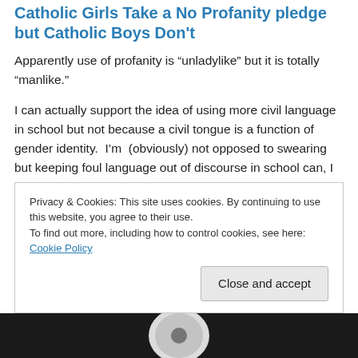Catholic Girls Take a No Profanity pledge but Catholic Boys Don't
Apparently use of profanity is “unladylike” but it is totally “manlike.”
I can actually support the idea of using more civil language in school but not because a civil tongue is a function of gender identity.  I’m  (obviously) not opposed to swearing but keeping foul language out of discourse in school can, I think, make it easier to learn.
In this case, though, what the young ladies are learning is
Privacy & Cookies: This site uses cookies. By continuing to use this website, you agree to their use.
To find out more, including how to control cookies, see here: Cookie Policy
Close and accept